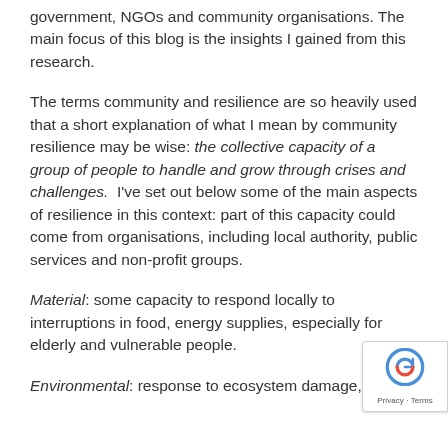government, NGOs and community organisations. The main focus of this blog is the insights I gained from this research.
The terms community and resilience are so heavily used that a short explanation of what I mean by community resilience may be wise: the collective capacity of a group of people to handle and grow through crises and challenges.  I've set out below some of the main aspects of resilience in this context: part of this capacity could come from organisations, including local authority, public services and non-profit groups.
Material: some capacity to respond locally to interruptions in food, energy supplies, especially for elderly and vulnerable people.
Environmental: response to ecosystem damage, eg